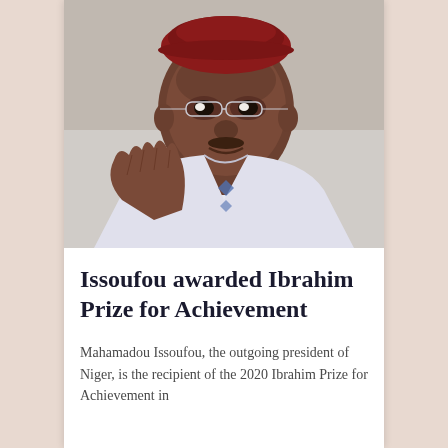[Figure (photo): Portrait photograph of Mahamadou Issoufou, a man wearing glasses and a white traditional West African boubou robe, raising his right hand with fingers spread, smiling.]
Issoufou awarded Ibrahim Prize for Achievement
Mahamadou Issoufou, the outgoing president of Niger, is the recipient of the 2020 Ibrahim Prize for Achievement in